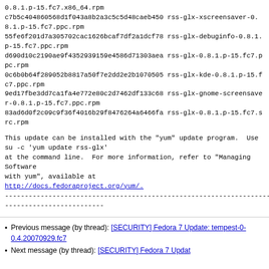0.8.1.p-15.fc7.x86_64.rpm
c7b5c404860568d1f043a8b2a3c5c5d48caeb450 rss-glx-xscreensaver-0.8.1.p-15.fc7.ppc.rpm
55fe6f201d7a305702cac1626bcaf7df2a1dcf78 rss-glx-debuginfo-0.8.1.p-15.fc7.ppc.rpm
d690d10c2190ae9f4352939159e4586d71303aea rss-glx-0.8.1.p-15.fc7.ppc.rpm
0c6b0b64f289052b8817a50f7e2dd2e2b1070505 rss-glx-kde-0.8.1.p-15.fc7.ppc.rpm
9ed17fbe3dd7ca1fa4e772e80c2d7462df133c68 rss-glx-gnome-screensaver-0.8.1.p-15.fc7.ppc.rpm
83ad6d0f2c09c9f36f4016b29f8476264a6466fa rss-glx-0.8.1.p-15.fc7.src.rpm
This update can be installed with the "yum" update program.  Use
su -c 'yum update rss-glx'
at the command line.  For more information, refer to "Managing Software
with yum", available at
http://docs.fedoraproject.org/yum/.
------------------------------------------------------------------------
-------------------------
Previous message (by thread): [SECURITY] Fedora 7 Update: tempest-0-0.4.20070929.fc7
Next message (by thread): [SECURITY] Fedora 7 Update...